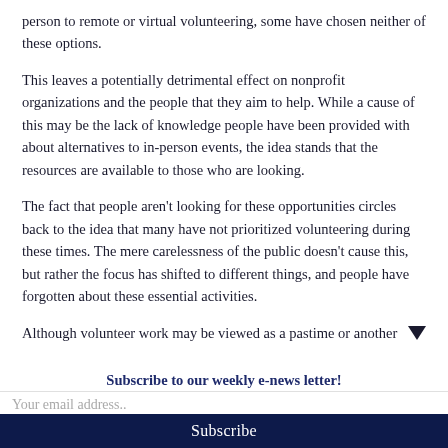person to remote or virtual volunteering, some have chosen neither of these options.
This leaves a potentially detrimental effect on nonprofit organizations and the people that they aim to help. While a cause of this may be the lack of knowledge people have been provided with about alternatives to in-person events, the idea stands that the resources are available to those who are looking.
The fact that people aren't looking for these opportunities circles back to the idea that many have not prioritized volunteering during these times. The mere carelessness of the public doesn't cause this, but rather the focus has shifted to different things, and people have forgotten about these essential activities.
Although volunteer work may be viewed as a pastime or another
Subscribe to our weekly e-news letter!
Your email address..
Subscribe